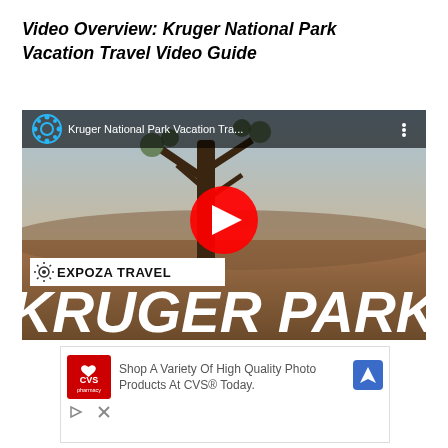Video Overview: Kruger National Park Vacation Travel Video Guide
[Figure (screenshot): YouTube video thumbnail showing Kruger National Park with a tree in foreground, African savanna landscape, EXPOZA TRAVEL logo overlay, large white bold text 'KRUGER PARK' at bottom, red play button in center, video title 'Kruger National Park Vacation Tra...' in top bar]
[Figure (screenshot): CVS pharmacy advertisement: 'Shop A Variety Of High Quality Photo Products At CVS® Today.' with CVS pharmacy red logo on left and blue navigation direction icon on right]